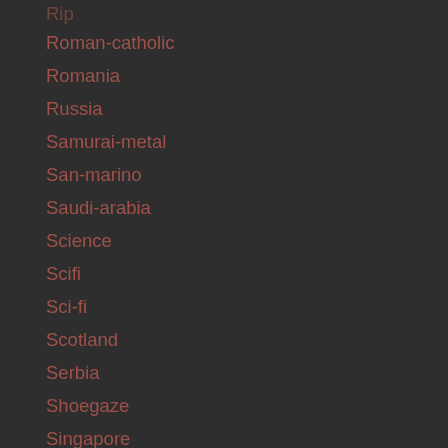Rip
Roman-catholic
Romania
Russia
Samurai-metal
San-marino
Saudi-arabia
Science
Scifi
Sci-fi
Scotland
Serbia
Shoegaze
Singapore
Singlerelease
Single Release
Single-stream
Slam
Slavic-metal
Sleaze-metal